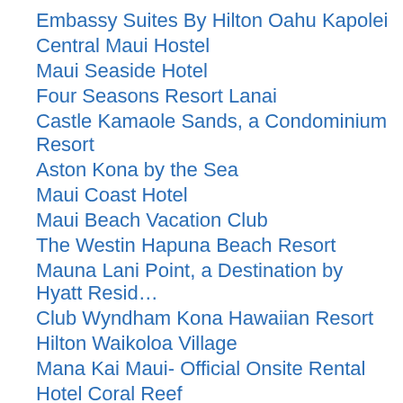Embassy Suites By Hilton Oahu Kapolei
Central Maui Hostel
Maui Seaside Hotel
Four Seasons Resort Lanai
Castle Kamaole Sands, a Condominium Resort
Aston Kona by the Sea
Maui Coast Hotel
Maui Beach Vacation Club
The Westin Hapuna Beach Resort
Mauna Lani Point, a Destination by Hyatt Resid…
Club Wyndham Kona Hawaiian Resort
Hilton Waikoloa Village
Mana Kai Maui- Official Onsite Rental
Hotel Coral Reef
Turtle Bay Resort
Paia Inn
Maui Beach Hotel
The Westin Princeville Ocean Resort Villas